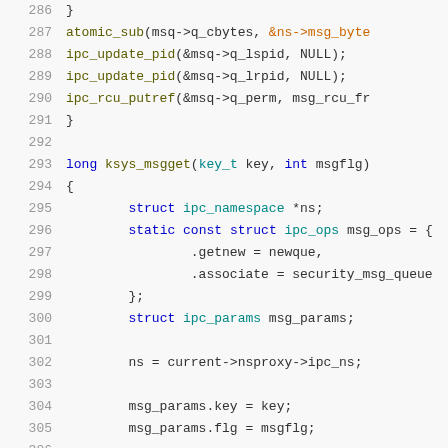[Figure (screenshot): Source code listing showing lines 286-306 of a C source file, featuring functions related to IPC message queue operations including atomic_sub, ipc_update_pid, ipc_rcu_putref calls and the ksys_msgget function definition with struct declarations.]